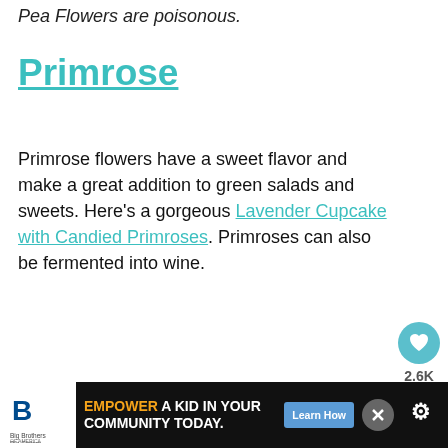Pea Flowers are poisonous.
Primrose
Primrose flowers have a sweet flavor and make a great addition to green salads and sweets. Here's a gorgeous Lavender Cupcake with Candied Primroses. Primroses can also be fermented into wine.
[Figure (photo): Pink rose flower on a light pink background, with a 'What's Next' overlay showing How to Keep Edible Flow...]
[Figure (infographic): Advertisement banner: Big Brothers Big Sisters logo, 'Empower a kid in your community today.' with Learn How button]